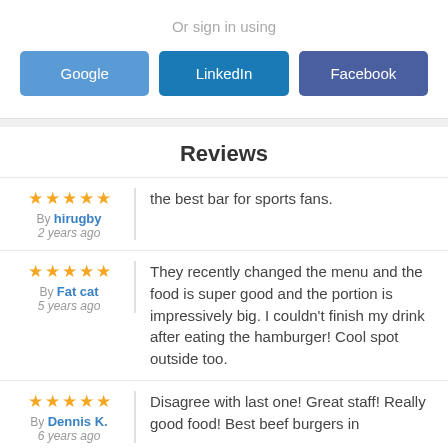Or sign in using
Google
LinkedIn
Facebook
Reviews
★★★★★ By hirugby 2 years ago — the best bar for sports fans.
★★★★★ By Fat cat 5 years ago — They recently changed the menu and the food is super good and the portion is impressively big. I couldn't finish my drink after eating the hamburger! Cool spot outside too.
★★★★★ By Dennis K. 6 years ago — Disagree with last one! Great staff! Really good food! Best beef burgers in